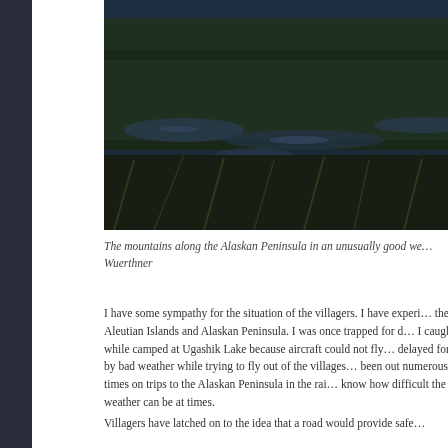[Figure (photo): Landscape photo of the mountains along the Alaskan Peninsula showing dark green tundra vegetation in the foreground with patches of water and shadowed terrain, taken in overcast or evening light.]
The mountains along the Alaskan Peninsula in an unusually good we... Wuerthner
I have some sympathy for the situation of the villagers. I have experi... the Aleutian Islands and Alaskan Peninsula. I was once trapped for d... I caught while camped at Ugashik Lake because aircraft could not fly... delayed for days by bad weather while trying to fly out of the villages... been out numerous times on trips to the Alaskan Peninsula in the rai... know how difficult the weather can be at times.
Villagers have latched on to the idea that a road would provide safe...